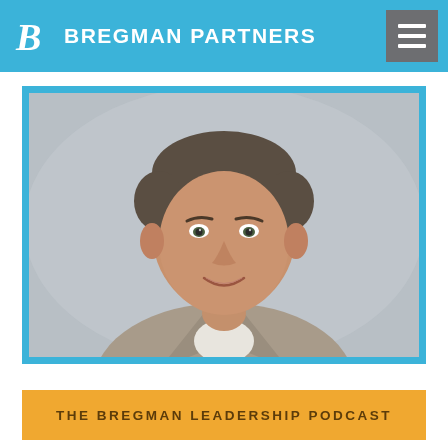BREGMAN PARTNERS
[Figure (photo): Professional headshot of a middle-aged man with brown/gray hair wearing a light gray blazer and white shirt, smiling, against a light gray background. Framed with a light blue border.]
THE BREGMAN LEADERSHIP PODCAST